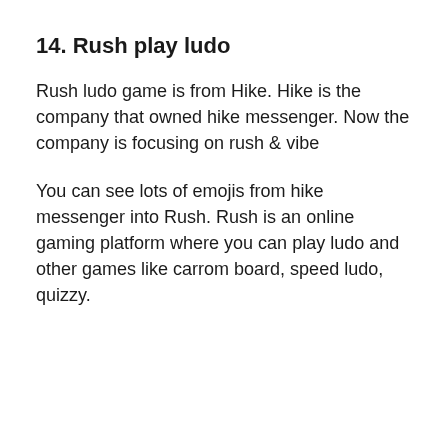14. Rush play ludo
Rush ludo game is from Hike. Hike is the company that owned hike messenger. Now the company is focusing on rush & vibe
You can see lots of emojis from hike messenger into Rush. Rush is an online gaming platform where you can play ludo and other games like carrom board, speed ludo, quizzy.